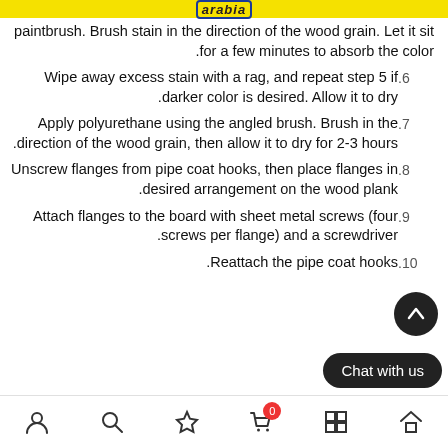arabia
paintbrush. Brush stain in the direction of the wood grain. Let it sit for a few minutes to absorb the color.
.6  Wipe away excess stain with a rag, and repeat step 5 if darker color is desired. Allow it to dry.
.7  Apply polyurethane using the angled brush. Brush in the direction of the wood grain, then allow it to dry for 2-3 hours.
.8  Unscrew flanges from pipe coat hooks, then place flanges in desired arrangement on the wood plank.
.9  Attach flanges to the board with sheet metal screws (four screws per flange) and a screwdriver.
.10  Reattach the pipe coat hooks.